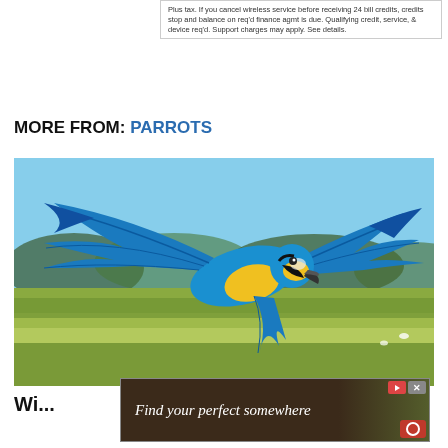Plus tax. If you cancel wireless service before receiving 24 bill credits, credits stop and balance on req'd finance agmt is due. Qualifying credit, service, & device req'd. Support charges may apply. See details.
MORE FROM: PARROTS
[Figure (photo): A blue-and-yellow macaw parrot in mid-flight with wings spread wide, against a blurred natural background of trees and green fields.]
Wi...
[Figure (other): Advertisement banner reading 'Find your perfect somewhere' with a dark brown background showing outdoor/travel imagery, red play button icon, close button, and a red HBO Max-style icon.]